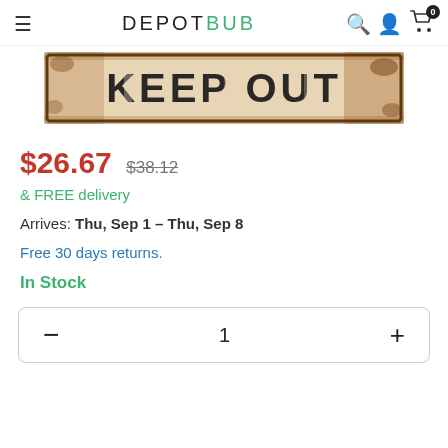DEPOTBUB
[Figure (photo): A distressed vintage metal sign reading 'KEEP OUT' in bold black text on a cream/beige background with rust/aged edges]
$26.67 $38.12
& FREE delivery
Arrives: Thu, Sep 1 – Thu, Sep 8
Free 30 days returns.
In Stock
- 1 +